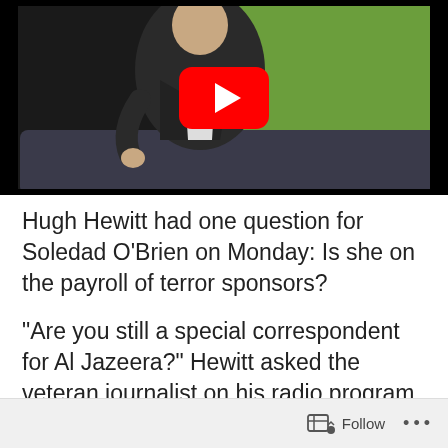[Figure (photo): YouTube video thumbnail showing a man in a dark suit and red tie seated on a couch against a green background, with a red YouTube play button overlay in the center.]
Hugh Hewitt had one question for Soledad O'Brien on Monday: Is she on the payroll of terror sponsors?
“Are you still a special correspondent for Al Jazeera?” Hewitt asked the veteran journalist on his radio program.
“I am,” O’Brien responded. “I run a production
Follow •••